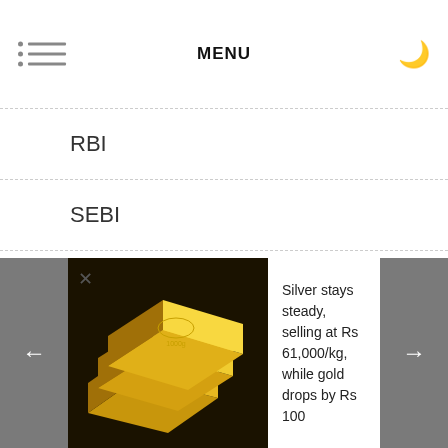MENU
RBI
SEBI
Sensex
Shanghai Disney
SPORTS
[Figure (photo): Gold bars/ingots stacked on a dark background]
Silver stays steady, selling at Rs 61,000/kg, while gold drops by Rs 100